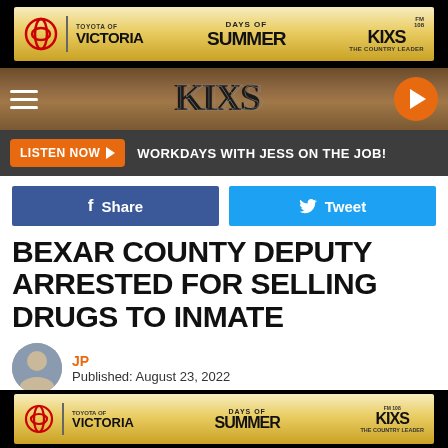[Figure (other): Toyota of Victoria - Days of Summer - KIXS FM 108 The Country Leader advertisement banner]
[Figure (other): KIXS radio station navigation bar with hamburger menu, logo, and play button]
LISTEN NOW ▶   WORKDAYS WITH JESS ON THE JOB!
f Share
Tweet
BEXAR COUNTY DEPUTY ARRESTED FOR SELLING DRUGS TO INMATE
JP
Published: August 23, 2022
[Figure (other): Toyota of Victoria - Days of Summer - KIXS FM 108 The Country Leader advertisement banner (bottom)]